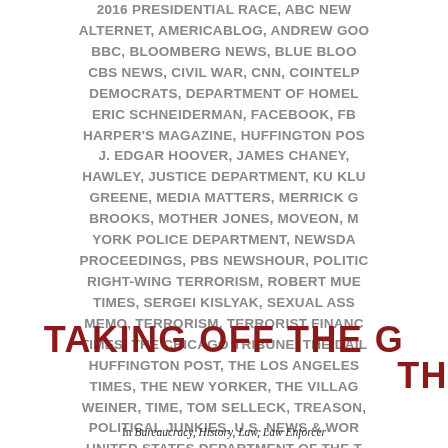2016 PRESIDENTIAL RACE, ABC NEWS, ALTERNET, AMERICABLOG, ANDREW GOODMAN, BBC, BLOOMBERG NEWS, BLUE BLOOD, CBS NEWS, CIVIL WAR, CNN, COINTELPRO, DEMOCRATS, DEPARTMENT OF HOMELAND SECURITY, ERIC SCHNEIDERMAN, FACEBOOK, FBI, HARPER'S MAGAZINE, HUFFINGTON POST, J. EDGAR HOOVER, JAMES CHANEY, HAWLEY, JUSTICE DEPARTMENT, KU KLUX KLAN, GREENE, MEDIA MATTERS, MERRICK GARLAND, BROOKS, MOTHER JONES, MOVEON, MSNBC, NEW YORK POLICE DEPARTMENT, NEWSDAY, PROCEEDINGS, PBS NEWSHOUR, POLITICO, RIGHT-WING TERRORISM, ROBERT MUELLER, TIMES, SERGEI KISLYAK, SEXUAL ASSAULT, MEMO, TERRORISM, TERRORIST FINANCING, TIMES, THE CHICAGO TRIBUNE, THE DAILY BEAST, HUFFINGTON POST, THE LOS ANGELES TIMES, THE NEW YORKER, THE VILLAGE VOICE, WEINER, TIME, TOM SELLECK, TREASON, WASHINGTON POLITICAL JUNKIES, U.S. NEWS & WORLD REPORT, UNITED STATES DEPARTMENT OF THE TREASURY, UNITED STATES PARK POLICE, UNITED STATES SUPREME COURT, UPI, USA RADIO NETWORK, VLADIMIR PUTIN, WILLIAM BARR
TAKING OFF THE GLOVES:
THE FBI'S...
In Bureaucracy, History, Law, Law Enforcement